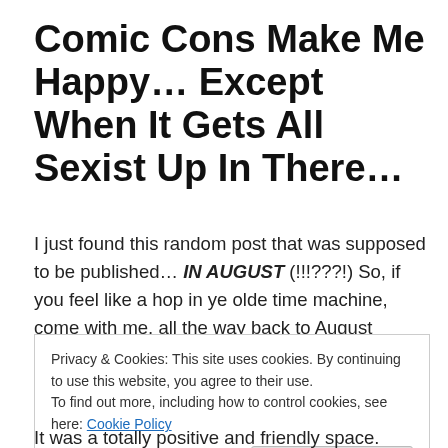Comic Cons Make Me Happy… Except When It Gets All Sexist Up In There…
I just found this random post that was supposed to be published… IN AUGUST (!!!???!) So, if you feel like a hop in ye olde time machine, come with me, all the way back to August 2014…
Privacy & Cookies: This site uses cookies. By continuing to use this website, you agree to their use.
To find out more, including how to control cookies, see here: Cookie Policy
[Close and accept]
It was a totally positive and friendly space. Everyone was